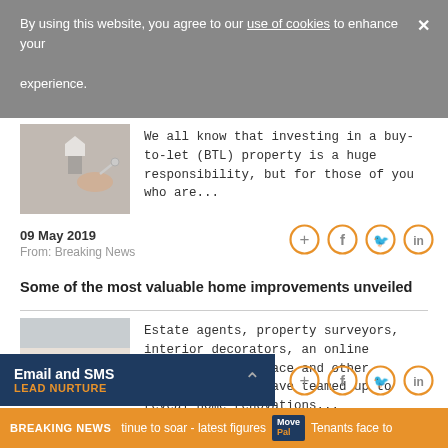By using this website, you agree to our use of cookies to enhance your experience.
[Figure (photo): Person handing over keys, house model in background]
We all know that investing in a buy-to-let (BTL) property is a huge responsibility, but for those of you who are...
09 May 2019
From: Breaking News
[Figure (infographic): Social share icons: plus, facebook, twitter, linkedin]
Some of the most valuable home improvements unveiled
[Figure (photo): Person holding tablet showing interior design app]
Estate agents, property surveyors, interior decorators, an online services marketplace and other housing experts have teamed up to reveal home renovations...
Email and SMS
LEAD NURTURE
[Figure (infographic): Social share icons: plus, facebook, twitter, linkedin]
BREAKING NEWS ... tinue to soar - latest figures MovePal Tenants face to...